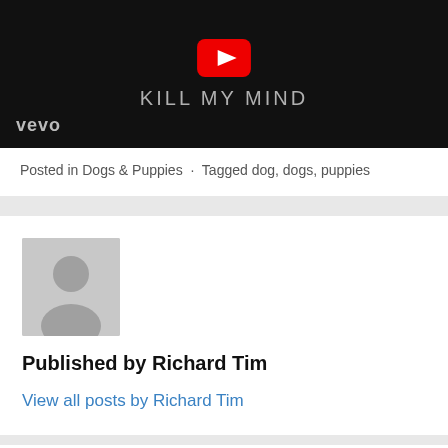[Figure (screenshot): YouTube/Vevo video thumbnail showing 'KILL MY MIND' text in gray on black background with red YouTube play button icon and 'vevo' logo in bottom left]
Posted in Dogs & Puppies  ·  Tagged dog, dogs, puppies
[Figure (photo): Gray placeholder avatar silhouette image for author profile]
Published by Richard Tim
View all posts by Richard Tim